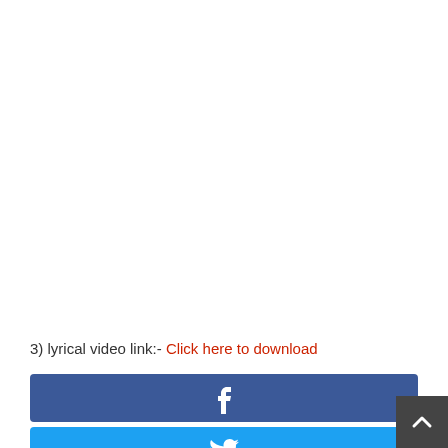3) lyrical video link:- Click here to download
[Figure (other): Facebook share button bar — dark blue rectangle with white Facebook 'f' icon centered]
[Figure (other): Twitter share button bar — light blue rectangle with white Twitter bird icon centered, partially visible at bottom]
[Figure (other): Back to top button — dark grey square with white upward chevron arrow, bottom-right corner]